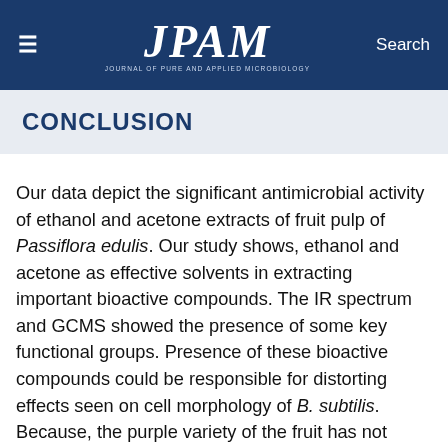≡  JPAM  Search
CONCLUSION
Our data depict the significant antimicrobial activity of ethanol and acetone extracts of fruit pulp of Passiflora edulis. Our study shows, ethanol and acetone as effective solvents in extracting important bioactive compounds. The IR spectrum and GCMS showed the presence of some key functional groups. Presence of these bioactive compounds could be responsible for distorting effects seen on cell morphology of B. subtilis. Because, the purple variety of the fruit has not been explored thoroughly for its antimicrobial properties and chemical composition, further fractionation and purification will help identify the potential chemical